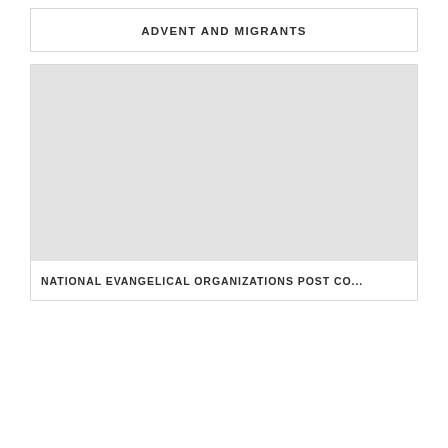ADVENT AND MIGRANTS
[Figure (photo): Large grey placeholder image box]
NATIONAL EVANGELICAL ORGANIZATIONS POST CO...